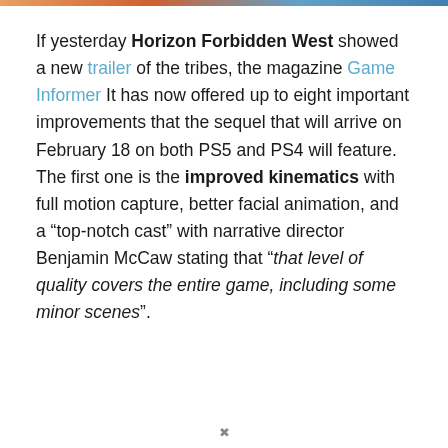If yesterday Horizon Forbidden West showed a new trailer of the tribes, the magazine Game Informer It has now offered up to eight important improvements that the sequel that will arrive on February 18 on both PS5 and PS4 will feature. The first one is the improved kinematics with full motion capture, better facial animation, and a “top-notch cast” with narrative director Benjamin McCaw stating that “that level of quality covers the entire game, including some minor scenes”.